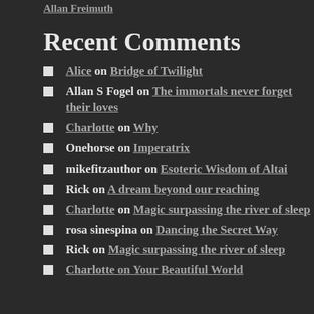Allan Freimuth
Recent Comments
Alice on Bridge of Twilight
Allan S Fogel on The immortals never forget their loves
Charlotte on Why
Onehorse on Imperatrix
mikefitzauthor on Esoteric Wisdom of Altai
Rick on A dream beyond our reaching
Charlotte on Magic surpassing the river of sleep
rosa sinespina on Dancing the Secret Way
Rick on Magic surpassing the river of sleep
Charlotte on Your Beautiful World